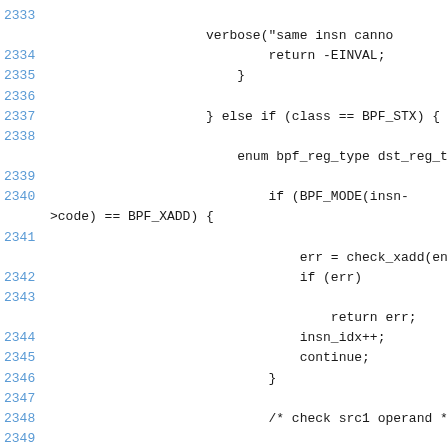2333    verbose("same insn canno
2334        return -EINVAL;
2335    }
2336
2337    } else if (class == BPF_STX) {
2338
        enum bpf_reg_type dst_reg_type;
2339
2340        if (BPF_MODE(insn->code) == BPF_XADD) {
2341
            err = check_xadd(env, in
2342        if (err)
2343
                return err;
2344            insn_idx++;
2345            continue;
2346        }
2347
2348        /* check src1 operand */
2349
        err = check_reg_arg(regs, insn->src_reg, SRC_OP);
2350        if (err)